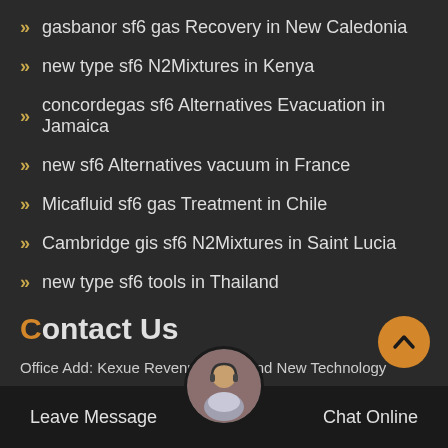gasbanor sf6 gas Recovery in New Caledonia
new type sf6 N2Mixtures in Kenya
concordegas sf6 Alternatives Evacuation in Jamaica
new sf6 Alternatives vacuum in France
Micafluid sf6 gas Treatment in Chile
Cambridge gis sf6 N2Mixtures in Saint Lucia
new type sf6 tools in Thailand
Contact Us
Office Add: Kexue Revenue, High and New Technology Industrial Development Zone, Zhengzhou, China
Leave Message | Chat Online